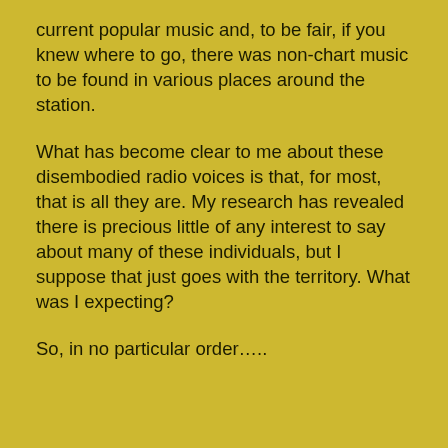current popular music and, to be fair, if you knew where to go, there was non-chart music to be found in various places around the station.
What has become clear to me about these disembodied radio voices is that, for most, that is all they are. My research has revealed there is precious little of any interest to say about many of these individuals, but I suppose that just goes with the territory. What was I expecting?
So, in no particular order…..